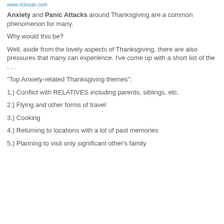www.rickrsan.com
Anxiety and Panic Attacks around Thanksgiving are a common phenomenon for many.
Why would this be?
Well, aside from the lovely aspects of Thanksgiving, there are also pressures that many can experience. I've come up with a short list of the . . .
"Top Anxiety-related Thanksgiving themes":
1.) Conflict with RELATIVES including parents, siblings, etc.
2.) Flying and other forms of travel
3.) Cooking
4.) Returning to locations with a lot of past memories
5.) Planning to visit only significant other's family